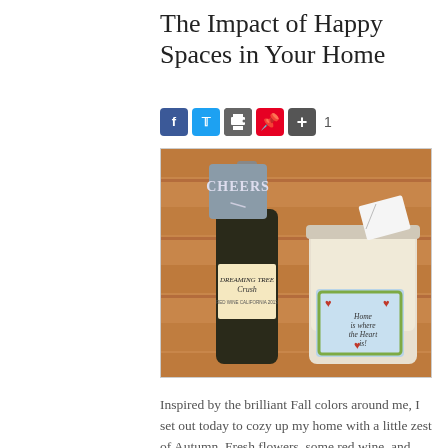The Impact of Happy Spaces in Your Home
[Figure (photo): A wine bottle labeled 'Dreaming Tree Crush' with a chalk tag reading 'CHEERS', next to a square candle jar with a decorative label reading 'Home is where the Heart is', set against a wooden slatted background.]
Inspired by the brilliant Fall colors around me, I set out today to cozy up my home with a little zest of Autumn. Fresh flowers, some red wine, and good nosh for guests were in my head and on my list.